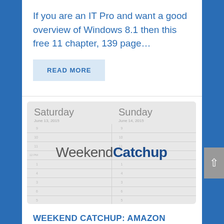If you are an IT Pro and want a good overview of Windows 8.1 then this free 11 chapter, 139 page…
READ MORE
[Figure (screenshot): Calendar app screenshot showing Saturday and Sunday columns with 'WeekendCatchup' watermark text overlaid in the center]
WEEKEND CATCHUP: AMAZON REVEALS 8 INCH ACER WINDOWS